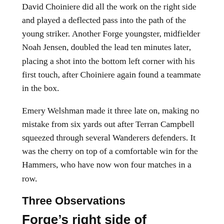David Choiniere did all the work on the right side and played a deflected pass into the path of the young striker. Another Forge youngster, midfielder Noah Jensen, doubled the lead ten minutes later, placing a shot into the bottom left corner with his first touch, after Choiniere again found a teammate in the box.
Emery Welshman made it three late on, making no mistake from six yards out after Terran Campbell squeezed through several Wanderers defenders. It was the cherry on top of a comfortable win for the Hammers, who have now won four matches in a row.
Three Observations
Forge’s right side of Choinière and Rama a dynamic duo
Forge’s gameplan on Sunday, as it has been in several games recently, was to make things happen on their right flank through David Choiniere and Barent Rama...